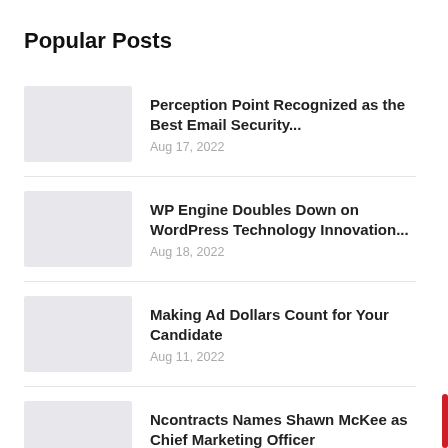Popular Posts
Perception Point Recognized as the Best Email Security… Aug 17, 2022
WP Engine Doubles Down on WordPress Technology Innovation… Aug 18, 2022
Making Ad Dollars Count for Your Candidate Aug 11, 2022
Ncontracts Names Shawn McKee as Chief Marketing Officer Aug 25, 2022